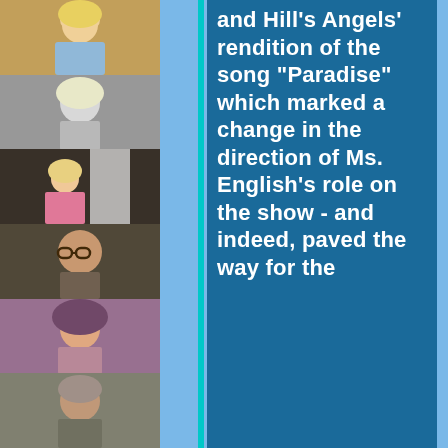[Figure (photo): Column of six photos of various people stacked vertically on the left side of the page]
and Hill's Angels' rendition of the song "Paradise" which marked a change in the direction of Ms. English's role on the show - and indeed, paved the way for the